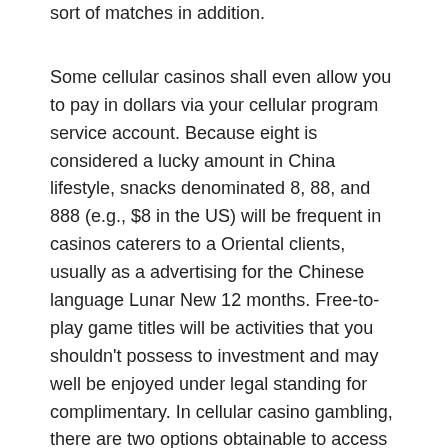sort of matches in addition.
Some cellular casinos shall even allow you to pay in dollars via your cellular program service account. Because eight is considered a lucky amount in China lifestyle, snacks denominated 8, 88, and 888 (e.g., $8 in the US) will be frequent in casinos caterers to a Oriental clients, usually as a advertising for the Chinese language Lunar New 12 months. Free-to-play game titles will be activities that you shouldn't possess to investment and may well be enjoyed under legal standing for complimentary. In cellular casino gambling, there are two options obtainable to access the games: through the use of a web app or a indigenous app.
Merely choose from a host of fully-optimized mobile game titles and check away the quite most effective absolutely free casino apps for Google android and iPhone previously mentioned. As I mentioned already, we carry out our best to expand the collection of online real money games with our reasonable bonus...